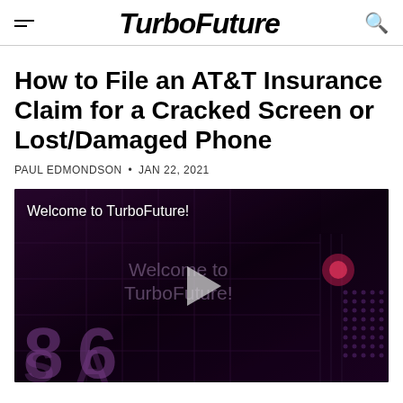TurboFuture
How to File an AT&T Insurance Claim for a Cracked Screen or Lost/Damaged Phone
PAUL EDMONDSON • JAN 22, 2021
[Figure (screenshot): Video thumbnail showing 'Welcome to TurboFuture!' text overlay on a dark circuit board background with a play button in the center]